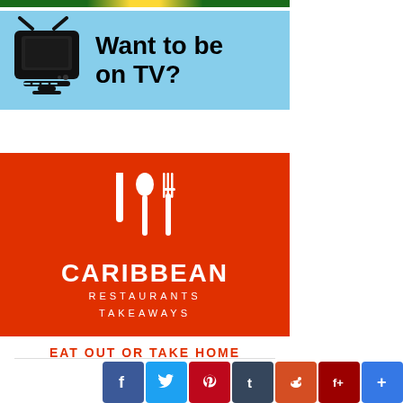[Figure (illustration): Green and yellow Jamaican flag-colored banner strip at top]
[Figure (infographic): Light blue banner with retro TV icon and text 'Want to be on TV?']
[Figure (logo): Red banner with white knife, spoon and fork icons and text 'CARIBBEAN RESTAURANTS TAKEAWAYS']
EAT OUT OR TAKE HOME
[Figure (infographic): Social media sharing buttons: Facebook, Twitter, Pinterest, Tumblr, Reddit, Flipboard, Add]